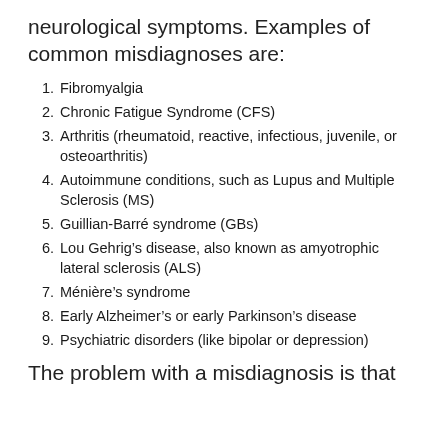neurological symptoms. Examples of common misdiagnoses are:
Fibromyalgia
Chronic Fatigue Syndrome (CFS)
Arthritis (rheumatoid, reactive, infectious, juvenile, or osteoarthritis)
Autoimmune conditions, such as Lupus and Multiple Sclerosis (MS)
Guillian-Barré syndrome (GBs)
Lou Gehrig’s disease, also known as amyotrophic lateral sclerosis (ALS)
Ménière’s syndrome
Early Alzheimer’s or early Parkinson’s disease
Psychiatric disorders (like bipolar or depression)
The problem with a misdiagnosis is that